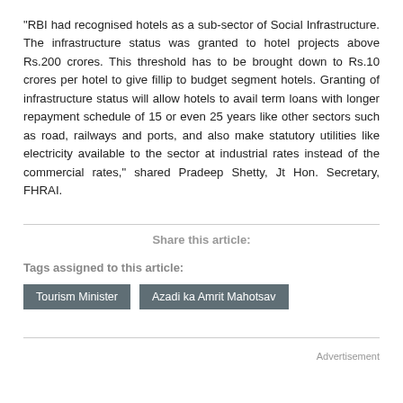“RBI had recognised hotels as a sub-sector of Social Infrastructure. The infrastructure status was granted to hotel projects above Rs.200 crores. This threshold has to be brought down to Rs.10 crores per hotel to give fillip to budget segment hotels. Granting of infrastructure status will allow hotels to avail term loans with longer repayment schedule of 15 or even 25 years like other sectors such as road, railways and ports, and also make statutory utilities like electricity available to the sector at industrial rates instead of the commercial rates,” shared Pradeep Shetty, Jt Hon. Secretary, FHRAI.
Share this article:
Tags assigned to this article:
Tourism Minister
Azadi ka Amrit Mahotsav
Advertisement